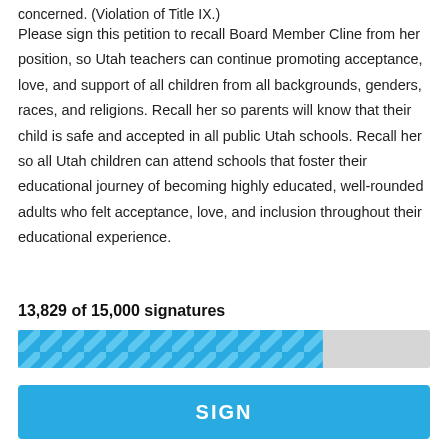concerned. (Violation of Title IX.)
Please sign this petition to recall Board Member Cline from her position, so Utah teachers can continue promoting acceptance, love, and support of all children from all backgrounds, genders, races, and religions. Recall her so parents will know that their child is safe and accepted in all public Utah schools. Recall her so all Utah children can attend schools that foster their educational journey of becoming highly educated, well-rounded adults who felt acceptance, love, and inclusion throughout their educational experience.
13,829 of 15,000 signatures
[Figure (infographic): Progress bar showing 13,829 of 15,000 signatures collected, approximately 74% filled with a blue diagonal stripe pattern on a grey background]
SIGN